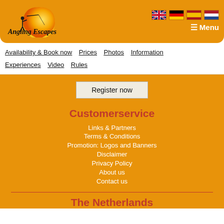[Figure (logo): Angling Escapes logo with fisherman silhouette and orange/yellow sun]
[Figure (illustration): Four country flag icons: UK, Germany, Spain, Netherlands]
≡ Menu
Availability & Book now   Prices   Photos   Information   Experiences   Video   Rules
Register now
Customerservice
Links & Partners
Terms & Conditions
Promotion: Logos and Banners
Disclaimer
Privacy Policy
About us
Contact us
The Netherlands